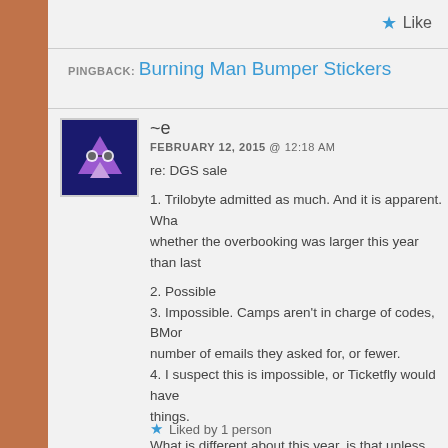Like
PINGBACK: Burning Man Bumper Stickers
~e
FEBRUARY 12, 2015 @ 12:18 AM
re: DGS sale

1. Trilobyte admitted as much. And it is apparent. Wha whether the overbooking was larger this year than last
2. Possible
3. Impossible. Camps aren't in charge of codes, BMor number of emails they asked for, or fewer.
4. I suspect this is impossible, or Ticketfly would have things.

What is different about this year, is that unless the tota decreased, there will be more of them available in the didn't get a lock on them.
Liked by 1 person